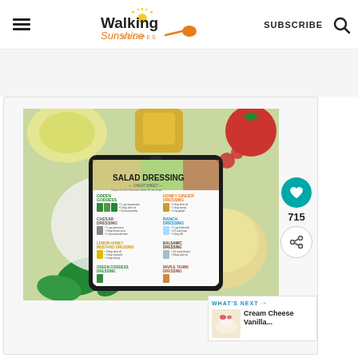Walking Sunshine Recipes — SUBSCRIBE
[Figure (screenshot): Website screenshot showing Walking Sunshine Recipes blog page with a salad dressing cheat sheet displayed on a tablet, surrounded by salad ingredients including tomatoes, basil, and a jar of dressing]
715
WHAT'S NEXT → Cream Cheese Vanilla...